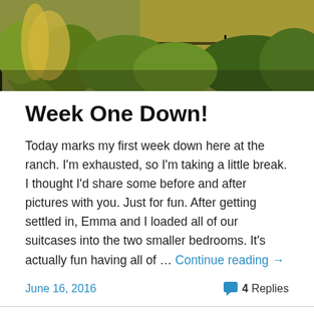[Figure (photo): Outdoor landscape photo showing green shrubs/plants near a fence with golden light, cropped at top of page]
Week One Down!
Today marks my first week down here at the ranch. I'm exhausted, so I'm taking a little break. I thought I'd share some before and after pictures with you. Just for fun. After getting settled in, Emma and I loaded all of our suitcases into the two smaller bedrooms. It's actually fun having all of … Continue reading →
June 16, 2016
4 Replies
[Figure (photo): Dark/black photograph visible at the bottom of the page, partially cropped]